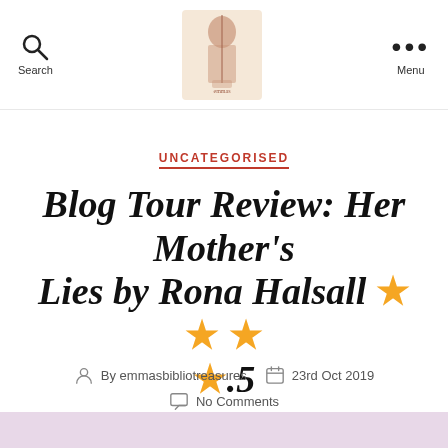Search | [Logo] | Menu
UNCATEGORISED
Blog Tour Review: Her Mother's Lies by Rona Halsall ★★★★.5
By emmasbibliotreasures
23rd Oct 2019
No Comments